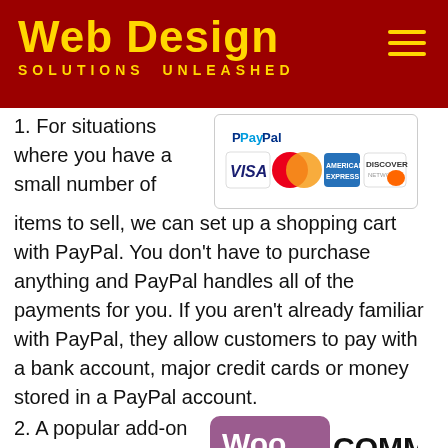Web Design SOLUTIONS UNLEASHED
1. For situations where you have a small number of items to sell, we can set up a shopping cart with PayPal. You don't have to purchase anything and PayPal handles all of the payments for you. If you aren't already familiar with PayPal, they allow customers to pay with a bank account, major credit cards or money stored in a PayPal account.
[Figure (logo): PayPal payment methods logo showing PayPal, Visa, MasterCard, American Express, and Discover]
2. A popular add-on to WordPress is the WooCommerce shopping cart. The add-on itself is free and it allows you to build a database of products to
[Figure (logo): WooCommerce logo - purple speech bubble with Woo text and COMMERCE in bold]